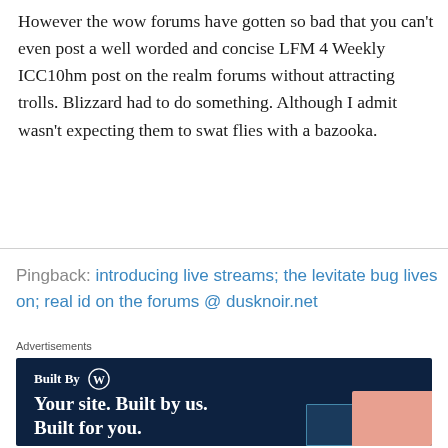However the wow forums have gotten so bad that you can't even post a well worded and concise LFM 4 Weekly ICC10hm post on the realm forums without attracting trolls. Blizzard had to do something. Although I admit wasn't expecting them to swat flies with a bazooka.
Pingback: introducing live streams; the levitate bug lives on; real id on the forums @ dusknoir.net
[Figure (other): WordPress advertisement banner with dark navy background. Shows 'Built By [WordPress logo]' and tagline 'Your site. Built by us. Built for you.' with device mockup images on the right.]